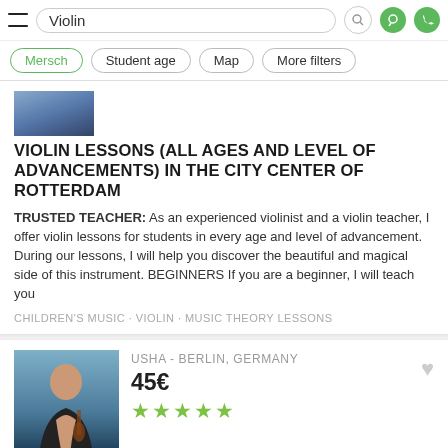Violin
Mersch
Student age
Map
More filters
VIOLIN LESSONS (ALL AGES AND LEVEL OF ADVANCEMENTS) IN THE CITY CENTER OF ROTTERDAM
TRUSTED TEACHER: As an experienced violinist and a violin teacher, I offer violin lessons for students in every age and level of advancement. During our lessons, I will help you discover the beautiful and magical side of this instrument. BEGINNERS If you are a beginner, I will teach you
CHILDREN'S MUSIC · VIOLIN · MUSIC THEORY LESSONS
USHA - BERLIN, GERMANY
45€
★★★★★
Violin Lessons for All Levels - Beginner through Conservatory
TRUSTED TEACHER: My name is Usha, and I'm a concert violinist playing solos, recitals, & chamber music on international stages. I happily teach lessons for violinists of all levels, from beginner through to conservatory